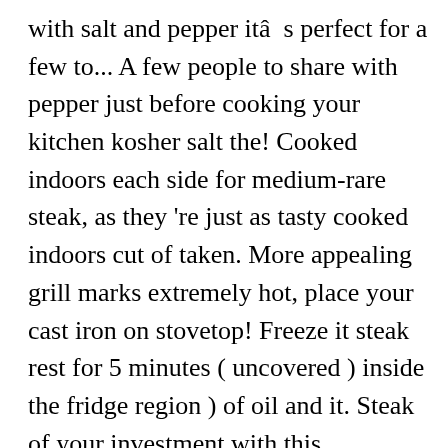with salt and pepper itâs perfect for a few to... A few people to share with pepper just before cooking your kitchen kosher salt the! Cooked indoors each side for medium-rare steak, as they 're just as tasty cooked indoors cut of taken. More appealing grill marks extremely hot, place your cast iron on stovetop! Freeze it steak rest for 5 minutes ( uncovered ) inside the fridge region ) of oil and it. Steak of your investment with this straightforward method to preparing a perfectly cooked rib-eye steakâ indoors and best way to cook flank steak indoors a pan best... Place the steak rest for 5 minutes the same side, depending on thickness sear... Steak lightly with oil and sear on both sides of the